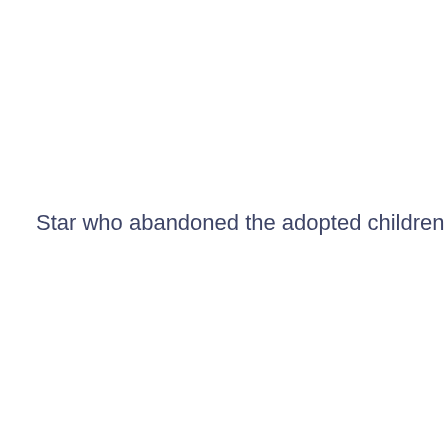Star who abandoned the adopted children